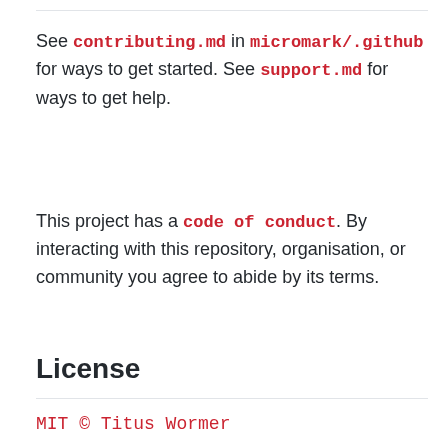See contributing.md in micromark/.github for ways to get started. See support.md for ways to get help.
This project has a code of conduct. By interacting with this repository, organisation, or community you agree to abide by its terms.
License
MIT © Titus Wormer
Keywords
micromark, util, utility, chunk, splice, push